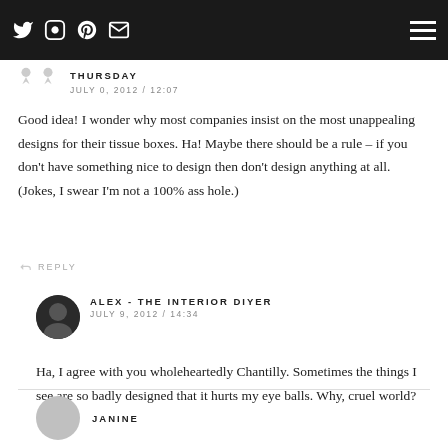Social media icons and hamburger menu on dark bar
THURSDAY
JULY 0, 2012 / 12:07
Good idea! I wonder why most companies insist on the most unappealing designs for their tissue boxes. Ha! Maybe there should be a rule – if you don't have something nice to design then don't design anything at all. (Jokes, I swear I'm not a 100% ass hole.)
REPLY
ALEX - THE INTERIOR DIYER
JULY 9, 2012 / 14:34
Ha, I agree with you wholeheartedly Chantilly. Sometimes the things I see are so badly designed that it hurts my eye balls. Why, cruel world?
JANINE